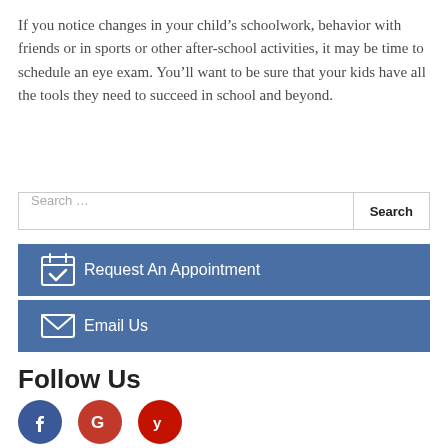If you notice changes in your child’s schoolwork, behavior with friends or in sports or other after-school activities, it may be time to schedule an eye exam. You’ll want to be sure that your kids have all the tools they need to succeed in school and beyond.
Search … Search
Request An Appointment
Email Us
Follow Us
[Figure (other): Facebook, Google, and Yelp social media icon circles]